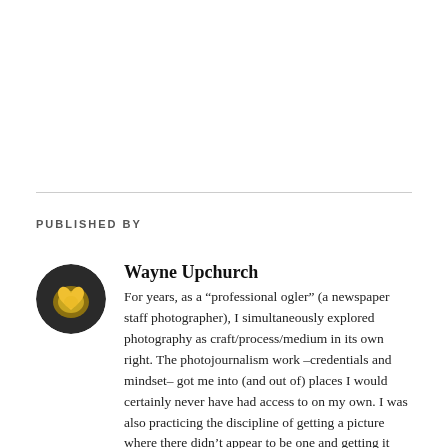PUBLISHED BY
[Figure (illustration): Circular avatar image with a golden/yellow heart-like emblem on dark background]
Wayne Upchurch
For years, as a “professional ogler” (a newspaper staff photographer), I simultaneously explored photography as craft/process/medium in its own right. The photojournalism work –credentials and mindset– got me into (and out of) places I would certainly never have had access to on my own. I was also practicing the discipline of getting a picture where there didn’t appear to be one and getting it Finished in a timely manner, to professional standards. I also learned to create imminently readable images despite poor reproduction